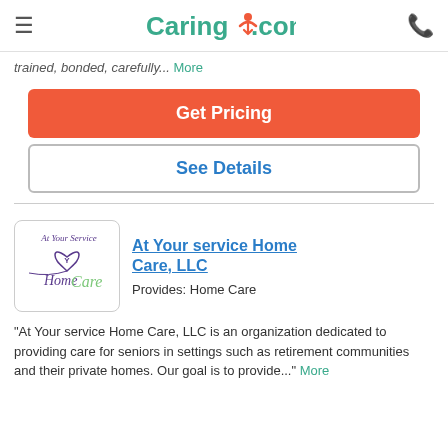Caring.com
trained, bonded, carefully... More
Get Pricing
See Details
[Figure (logo): At Your Service Home Care logo with script text and heart icon]
At Your service Home Care, LLC
Provides: Home Care
"At Your service Home Care, LLC is an organization dedicated to providing care for seniors in settings such as retirement communities and their private homes. Our goal is to provide..." More